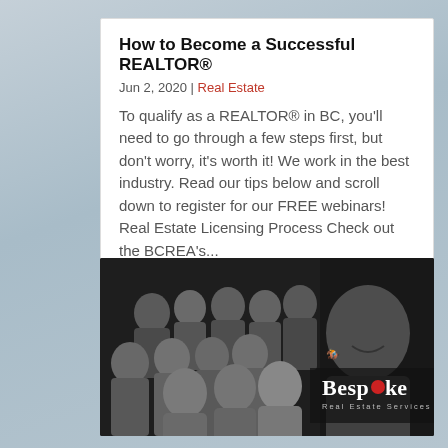How to Become a Successful REALTOR®
Jun 2, 2020 | Real Estate
To qualify as a REALTOR® in BC, you'll need to go through a few steps first, but don't worry, it's worth it! We work in the best industry. Read our tips below and scroll down to register for our FREE webinars! Real Estate Licensing Process Check out the BCREA's...
[Figure (photo): Black and white group photo of real estate team members smiling, with Bespoke Real Estate Services logo overlay in bottom right corner]